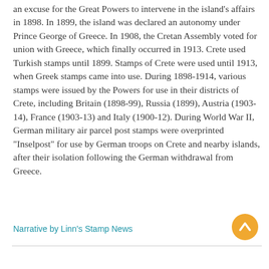an excuse for the Great Powers to intervene in the island's affairs in 1898. In 1899, the island was declared an autonomy under Prince George of Greece. In 1908, the Cretan Assembly voted for union with Greece, which finally occurred in 1913. Crete used Turkish stamps until 1899. Stamps of Crete were used until 1913, when Greek stamps came into use. During 1898-1914, various stamps were issued by the Powers for use in their districts of Crete, including Britain (1898-99), Russia (1899), Austria (1903-14), France (1903-13) and Italy (1900-12). During World War II, German military air parcel post stamps were overprinted "Inselpost" for use by German troops on Crete and nearby islands, after their isolation following the German withdrawal from Greece.
Narrative by Linn's Stamp News